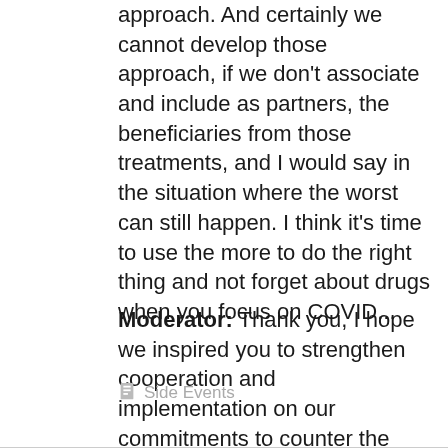approach. And certainly we cannot develop those approach, if we don't associate and include as partners, the beneficiaries from those treatments, and I would say in the situation where the worst can still happen. I think it's time to use the more to do the right thing and not forget about drugs when you focus on COVID...
Moderator: Thank you, I hope we inspired you to strengthen cooperation and implementation on our commitments to counter the world drug problem. Have a nice CND!
Side Events